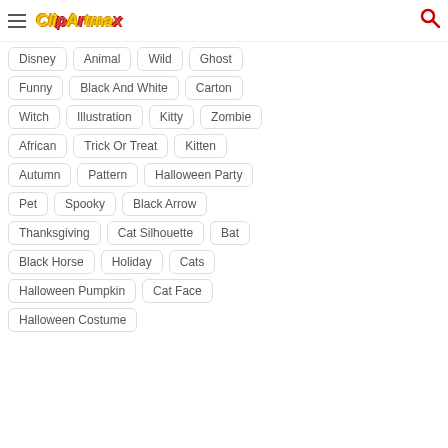ClipArtMax
Disney
Animal
Wild
Ghost
Funny
Black And White
Carton
Witch
Illustration
Kitty
Zombie
African
Trick Or Treat
Kitten
Autumn
Pattern
Halloween Party
Pet
Spooky
Black Arrow
Thanksgiving
Cat Silhouette
Bat
Black Horse
Holiday
Cats
Halloween Pumpkin
Cat Face
Halloween Costume